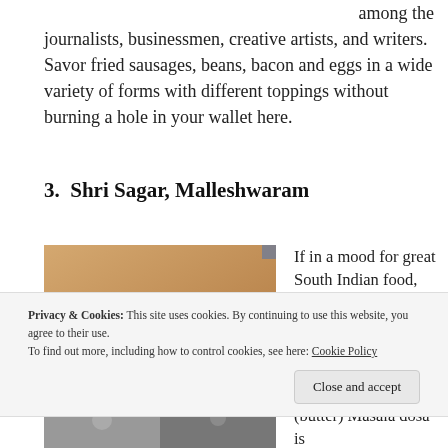among the journalists, businessmen, creative artists, and writers. Savor fried sausages, beans, bacon and eggs in a wide variety of forms with different toppings without burning a hole in your wallet here.
3.  Shri Sagar, Malleshwaram
[Figure (photo): Sign of Shri Sagar restaurant in Malleshwaram with stylized italic text on an orange/gold background and a dark red bar below reading MALLESHWARAM]
If in a mood for great South Indian food, visit this inexpensive place. Well, when the
[Figure (photo): Partial photo at bottom left, people/interior of restaurant]
(butter) Masala dosa is
Privacy & Cookies: This site uses cookies. By continuing to use this website, you agree to their use. To find out more, including how to control cookies, see here: Cookie Policy